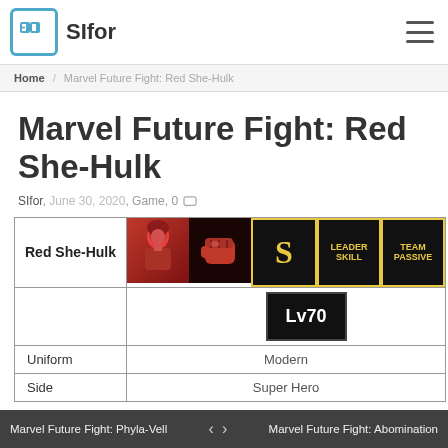SIfor
Home / Marvel Future Fight: Red She-Hulk
Marvel Future Fight: Red She-Hulk
SIfor, June 30, 2020, Game, 0
| Red She-Hulk | [icons: portrait, fight, S, LEADER SKILL, TEAM PASSIVE] | [Lv70] |
| --- | --- | --- |
| Uniform | Modern |
| Side | Super Hero |
Marvel Future Fight: Phyla-Vell   <   >   Marvel Future Fight: Abomination